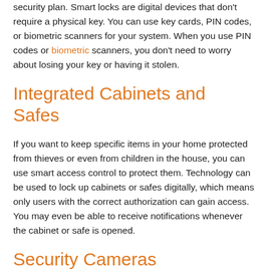security plan. Smart locks are digital devices that don't require a physical key. You can use key cards, PIN codes, or biometric scanners for your system. When you use PIN codes or biometric scanners, you don't need to worry about losing your key or having it stolen.
Integrated Cabinets and Safes
If you want to keep specific items in your home protected from thieves or even from children in the house, you can use smart access control to protect them. Technology can be used to lock up cabinets or safes digitally, which means only users with the correct authorization can gain access. You may even be able to receive notifications whenever the cabinet or safe is opened.
Security Cameras
If you have a large property or one with lots of wildlife that may obscure trespassers or other people on the property, security cameras can be a good investment. While many homes are